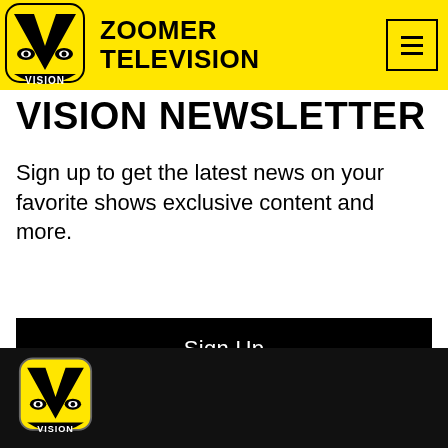[Figure (logo): Zoomer Television / Vision TV logo — yellow rounded square with black V and eyes, 'VISION' text below in white on black arc]
ZOOMER TELEVISION
VISION NEWSLETTER
Sign up to get the latest news on your favorite shows exclusive content and more.
[Figure (other): Black button with white text 'Sign Up']
[Figure (logo): Partial Vision TV logo at bottom of page on black background]